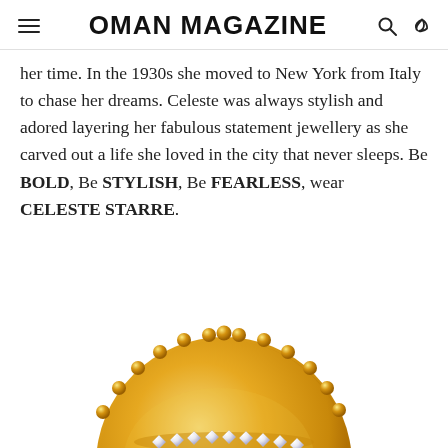OMAN MAGAZINE
her time. In the 1930s she moved to New York from Italy to chase her dreams. Celeste was always stylish and adored layering her fabulous statement jewellery as she carved out a life she loved in the city that never sleeps. Be BOLD, Be STYLISH, Be FEARLESS, wear CELESTE STARRE.
[Figure (photo): A gold jewellery piece — a circular ring or disc with beaded gold border and crystal/diamond embellishments, shown close up against a white background, partially cropped at the bottom of the page.]